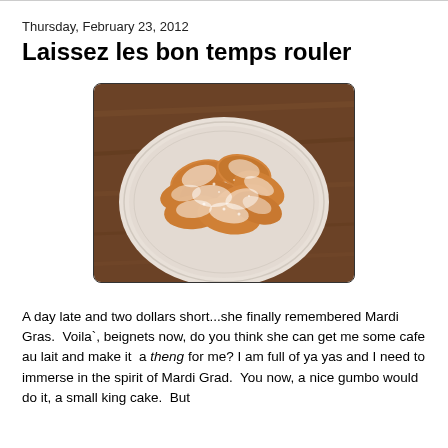Thursday, February 23, 2012
Laissez les bon temps rouler
[Figure (photo): A plate of beignets dusted with powdered sugar, sitting on a wooden table surface. The beignets are golden-brown fried pastries piled on a round white plate.]
A day late and two dollars short...she finally remembered Mardi Gras.  Voila`, beignets now, do you think she can get me some cafe au lait and make it  a theng for me? I am full of ya yas and I need to immerse in the spirit of Mardi Grad.  You now, a nice gumbo would do it, a small king cake.  But